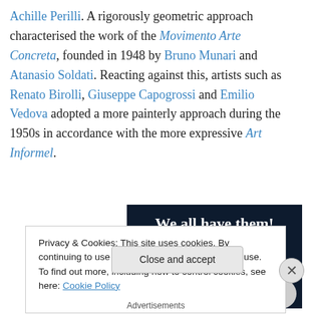Achille Perilli. A rigorously geometric approach characterised the work of the Movimento Arte Concreta, founded in 1948 by Bruno Munari and Atanasio Soldati. Reacting against this, artists such as Renato Birolli, Giuseppe Capogrossi and Emilio Vedova adopted a more painterly approach during the 1950s in accordance with the more expressive Art Informel.
[Figure (photo): Advertisement banner with dark navy background and bold white text reading 'We all have them!' with a pink button and grey circle at the bottom]
Privacy & Cookies: This site uses cookies. By continuing to use this website, you agree to their use.
To find out more, including how to control cookies, see here: Cookie Policy
Close and accept
Advertisements